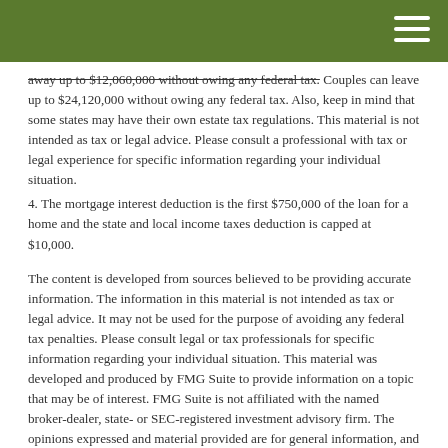[green header bar with hamburger menu icon]
away up to $12,060,000 without owing any federal tax. Couples can leave up to $24,120,000 without owing any federal tax. Also, keep in mind that some states may have their own estate tax regulations. This material is not intended as tax or legal advice. Please consult a professional with tax or legal experience for specific information regarding your individual situation.
4. The mortgage interest deduction is the first $750,000 of the loan for a home and the state and local income taxes deduction is capped at $10,000.
The content is developed from sources believed to be providing accurate information. The information in this material is not intended as tax or legal advice. It may not be used for the purpose of avoiding any federal tax penalties. Please consult legal or tax professionals for specific information regarding your individual situation. This material was developed and produced by FMG Suite to provide information on a topic that may be of interest. FMG Suite is not affiliated with the named broker-dealer, state- or SEC-registered investment advisory firm. The opinions expressed and material provided are for general information, and should not be considered a solicitation for the purchase or sale of any security. Copyright FMG Suite.